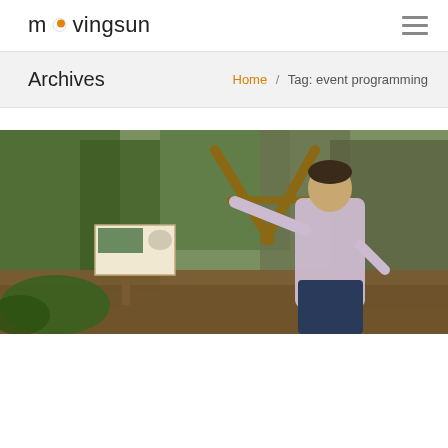movingsun
Archives
Home / Tag: event programming
[Figure (photo): A man in a light purple button-down shirt pointing at something in a lush garden or botanical setting. There is a wooden information sign in the foreground and a wooden A-frame structure in the background, surrounded by ferns, palms, and tropical plants.]